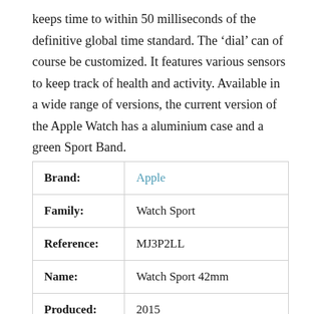keeps time to within 50 milliseconds of the definitive global time standard. The ‘dial’ can of course be customized. It features various sensors to keep track of health and activity. Available in a wide range of versions, the current version of the Apple Watch has a aluminium case and a green Sport Band.
|  |  |
| --- | --- |
| Brand: | Apple |
| Family: | Watch Sport |
| Reference: | MJ3P2LL |
| Name: | Watch Sport 42mm |
| Produced: | 2015 |